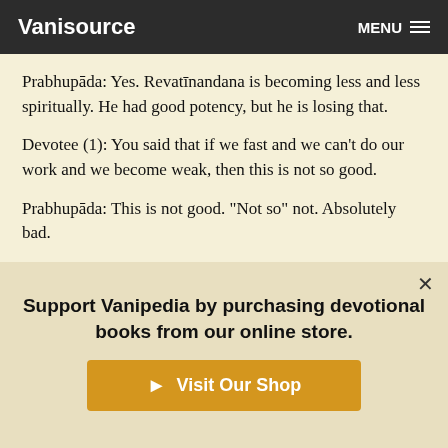Vanisource | MENU
Prabhupāda: Yes. Revatīnandana is becoming less and less spiritually. He had good potency, but he is losing that.
Devotee (1): You said that if we fast and we can't do our work and we become weak, then this is not so good.
Prabhupāda: This is not good. "Not so" not. Absolutely bad.
Devotee (1): So our devotional service comes first?
Prabhupāda: Yes.
Devotee (1): So if there is. . . let us say there is grain and rice being offered to the Deities, and one finds that if he eats this, his
Support Vanipedia by purchasing devotional books from our online store.
▶ Visit Our Shop